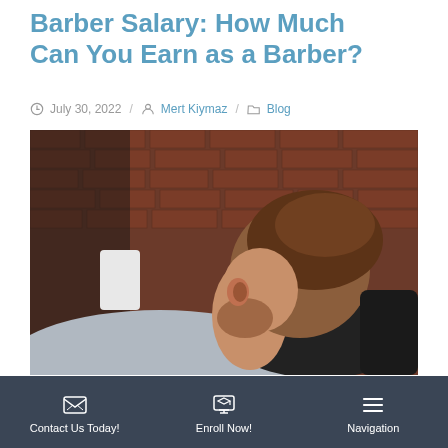Barber Salary: How Much Can You Earn as a Barber?
July 30, 2022  /  Mert Kiymaz  /  Blog
[Figure (photo): A man in a barber chair leaning back, viewed from behind/side, showing brown hair and beard stubble, with a brick wall background and gray barber cape.]
The overall employment of Barbers is projected to grow from 2020 to...